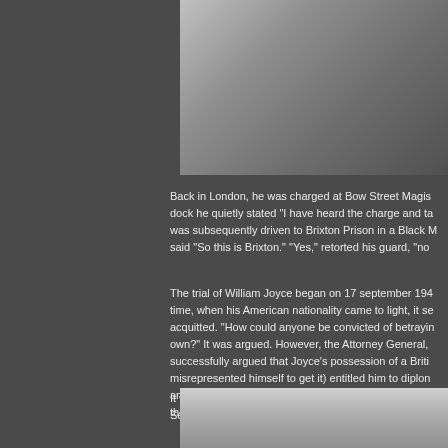[Figure (photo): Black and white photograph of a person, partially visible at top of page]
Back in London, he was charged at Bow Street Magis... dock he quietly stated “I have heard the charge and ta... was subsequently driven to Brixton Prison in a Black M... said “So this is Brixton.” “Yes,” retorted his guard, “not...
The trial of William Joyce began on 17 september 194... time, when his American nationality came to light, it se... acquitted. “How could anyone be convicted of betrayin... own?” It was argued. However, the Attorney General, ... successfully argued that Joyce’s possession of a Briti... misrepresented himself to get it) entitled him to diplon... and therefore he owed allegiance to the King at the ti... the Germans.
It was on this contrived technicality that Joyce was co... September 1945. The penalty of which, of course, wa...
[Figure (photo): Black and white photograph at the bottom of the page, partially visible]